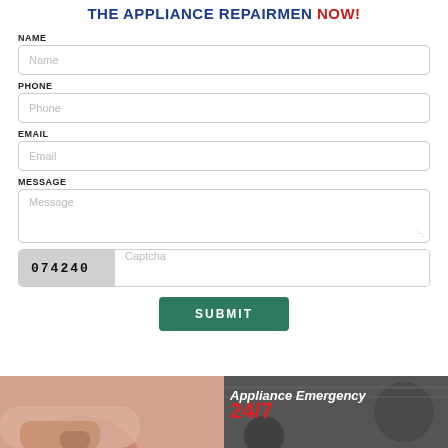THE APPLIANCE REPAIRMEN NOW!
NAME
Name
PHONE
Phone
EMAIL
Email
MESSAGE
Message
074240  Captcha
SUBMIT
[Figure (photo): Left half: photo of a person's arm/hand, skin tones. Right half: dark mechanical/appliance parts background with 'Appliance Emergency' text overlay in white italic bold.]